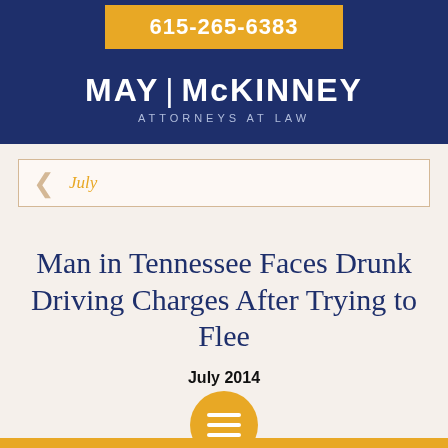615-265-6383
[Figure (logo): May McKinney Attorneys at Law logo on dark navy blue background]
July
Man in Tennessee Faces Drunk Driving Charges After Trying to Flee
July 2014